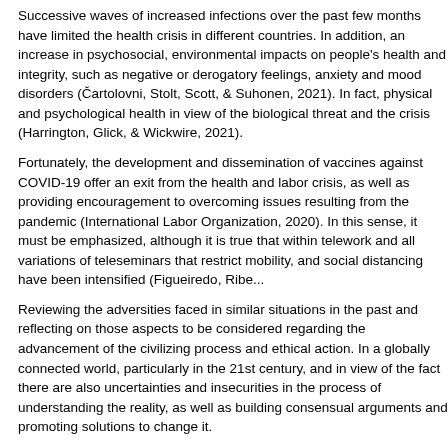Successive waves of increased infections over the past few months have limited the health crisis in different countries. In addition, an increase in psychosocial, environmental impacts on people's health and integrity, such as negative or derogatory feelings, anxiety and mood disorders (Čartolovni, Stolt, Scott, & Suhonen, 2021). In fact, physical and psychological health in view of the biological threat and the crisis (Harrington, Glick, & Wickwire, 2021).
Fortunately, the development and dissemination of vaccines against COVID-19 offer an exit from the health and labor crisis, as well as providing encouragement to overcoming issues resulting from the pandemic (International Labor Organization, 2020). In this sense, it must be emphasized, although it is true that within telework and all variations of teleseminars that restrict mobility, and social distancing have been intensified (Figueiredo, Ribe...
Reviewing the adversities faced in similar situations in the past and reflecting on those aspects to be considered regarding the advancement of the civilizing process and ethical action. In a globally connected world, particularly in the 21st century, and in view of the fact there are also uncertainties and insecurities in the process of understanding the reality, as well as building consensual arguments and promoting solutions to change it.
Two aspects of the management of the current pandemic crisis have received attention: and technologies derived from them in generating guidelines and solutions for public health; b) the emergence of ethical conflicts from managing the economic and population, as well as disseminating information and solutions to face the problems that are fragile or incompatible with the options for effective operationalization.
The COVID-19 pandemic has given rise to a set of specialized scientific knowledge to assist with controlling the pandemic, in order to reduce the speed of contamination of the virus and its variations. Science and scientists have been tested to exhaustion. In recent history, we are probably facing one of the most critical situations of confrontation to assist the dignity, credibility, and validity of its operations and conclusions.